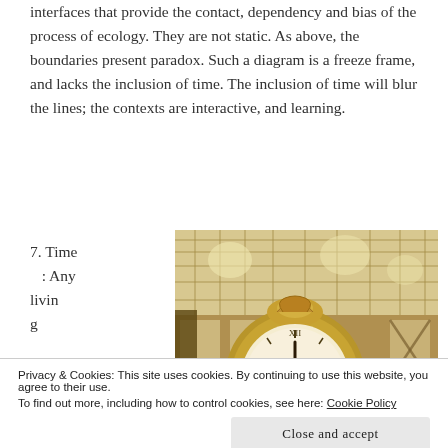interfaces that provide the contact, dependency and bias of the process of ecology. They are not static. As above, the boundaries present paradox. Such a diagram is a freeze frame, and lacks the inclusion of time. The inclusion of time will blur the lines; the contexts are interactive, and learning.
7. Time : Any living
[Figure (photo): A large ornate golden clock inside a grand train station with tall glass windows and iron framework in the background.]
Privacy & Cookies: This site uses cookies. By continuing to use this website, you agree to their use.
To find out more, including how to control cookies, see here: Cookie Policy
Close and accept
of a